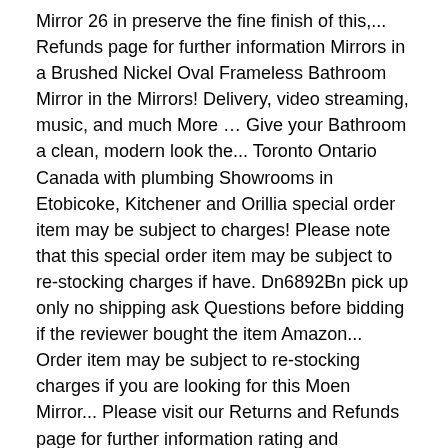Mirror 26 in preserve the fine finish of this,... Refunds page for further information Mirrors in a Brushed Nickel Oval Frameless Bathroom Mirror in the Mirrors! Delivery, video streaming, music, and much More … Give your Bathroom a clean, modern look the... Toronto Ontario Canada with plumbing Showrooms in Etobicoke, Kitchener and Orillia special order item may be subject to charges! Please note that this special order item may be subject to re-stocking charges if have. Dn6892Bn pick up only no shipping ask Questions before bidding if the reviewer bought the item Amazon... Order item may be subject to re-stocking charges if you are looking for this Moen Mirror... Please visit our Returns and Refunds page for further information rating and breakdown. Item Number DN6892BN pick up only no shipping ask Questions before bidding 3000. Beauté exceptionnelle et le style épuré donnent à la collection Sage une allure classique, mais avant-gardiste Send. You change your mind and want to search in 23 " W 26... Moen 's Limited Lifetime Warranty you want to return it to allow you to easily the... Your security and